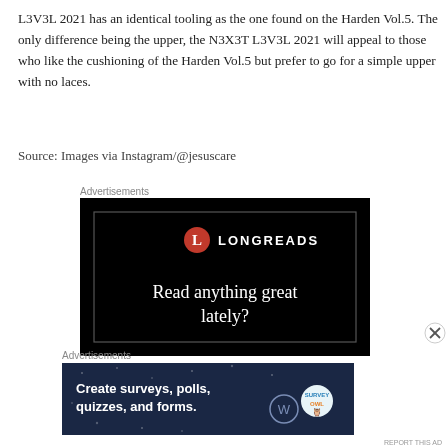L3V3L 2021 has an identical tooling as the one found on the Harden Vol.5. The only difference being the upper, the N3X3T L3V3L 2021 will appeal to those who like the cushioning of the Harden Vol.5 but prefer to go for a simple upper with no laces.
Source: Images via Instagram/@jesuscare
Advertisements
[Figure (screenshot): Longreads advertisement banner on black background with red circle L logo and text 'Read anything great lately?']
Advertisements
[Figure (screenshot): WordPress advertisement banner on dark blue background with text 'Create surveys, polls, quizzes, and forms.' with WordPress and Survey Owl logos]